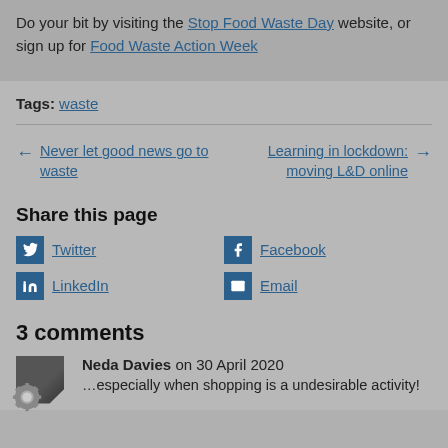Do your bit by visiting the Stop Food Waste Day website, or sign up for Food Waste Action Week
Tags: waste
← Never let good news go to waste
Learning in lockdown: moving L&D online →
Share this page
Twitter
Facebook
LinkedIn
Email
3 comments
Neda Davies on 30 April 2020
…especially when shopping is a undesirable activity!